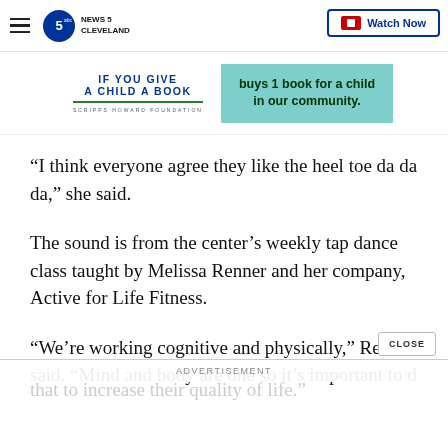News 5 Cleveland — Watch Now
[Figure (infographic): If You Give A Child A Book — Scripps Howard Foundation banner ad with teal box stating 'buys 1 book for a child in our community.']
“I think everyone agree they like the heel toe da da da,” she said.
The sound is from the center’s weekly tap dance class taught by Melissa Renner and her company, Active for Life Fitness.
“We’re working cognitive and physically,” Renner said. “Mind and body are one so it’s important to do that to increase their quality of life.”